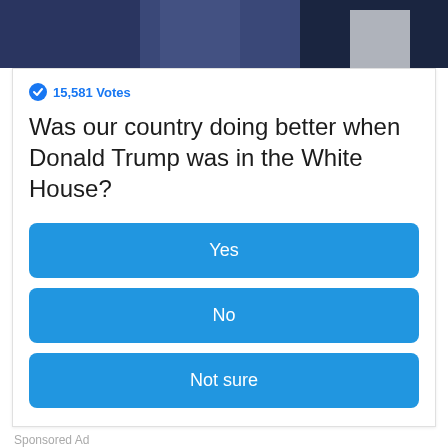[Figure (photo): Partial photo of two people, cropped at top of page]
15,581 Votes
Was our country doing better when Donald Trump was in the White House?
Yes
No
Not sure
Sponsored Ad
"Today, we will discuss proposals on funding